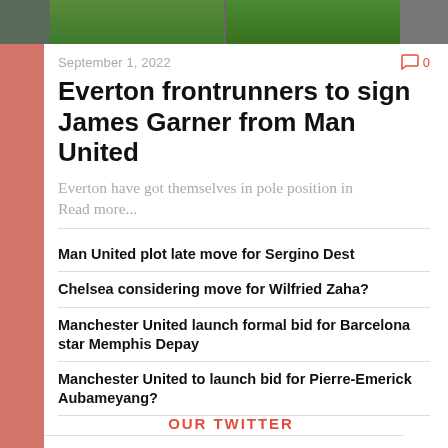[Figure (photo): Top strip showing green football pitch / grass from above]
September 1, 2022   0
Everton frontrunners to sign James Garner from Man United
Everton have got themselves in pole position in Read more...
Man United plot late move for Sergino Dest
Chelsea considering move for Wilfried Zaha?
Manchester United launch formal bid for Barcelona star Memphis Depay
Manchester United to launch bid for Pierre-Emerick Aubameyang?
OUR TWITTER